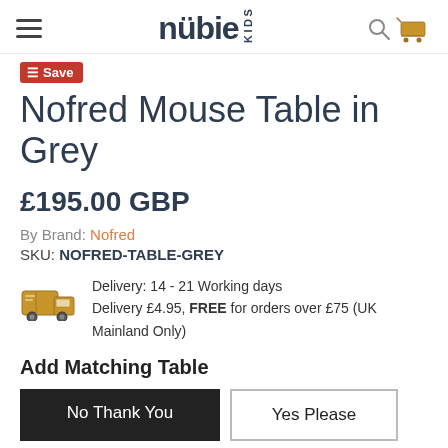nubie KIDS — navigation header with hamburger menu, logo, search and cart icons
Save
Nofred Mouse Table in Grey
£195.00 GBP
By Brand: Nofred
SKU: NOFRED-TABLE-GREY
Delivery: 14 - 21 Working days
Delivery £4.95, FREE for orders over £75 (UK Mainland Only)
Add Matching Table
No Thank You
Yes Please